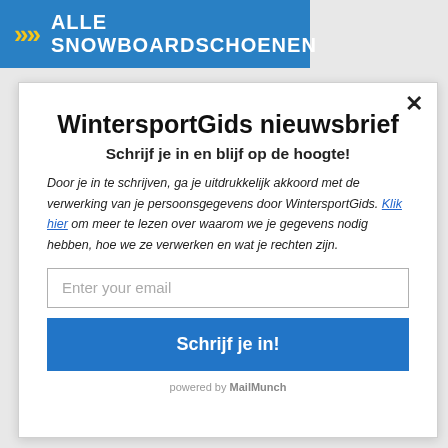ALLE SNOWBOARDSCHOENEN
WintersportGids nieuwsbrief
Schrijf je in en blijf op de hoogte!
Door je in te schrijven, ga je uitdrukkelijk akkoord met de verwerking van je persoonsgegevens door WintersportGids. Klik hier om meer te lezen over waarom we je gegevens nodig hebben, hoe we ze verwerken en wat je rechten zijn.
Enter your email
Schrijf je in!
powered by MailMunch